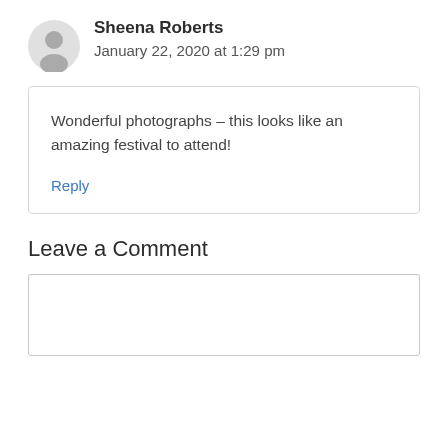Sheena Roberts
January 22, 2020 at 1:29 pm
Wonderful photographs – this looks like an amazing festival to attend!
Reply
Leave a Comment